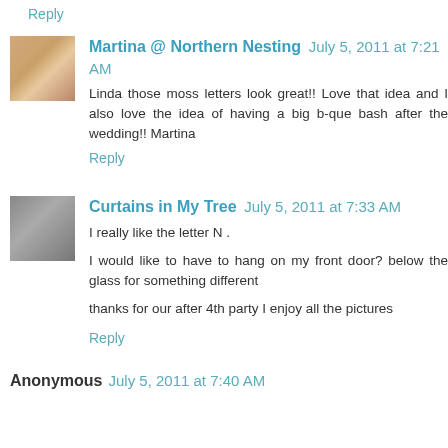Reply
Martina @ Northern Nesting July 5, 2011 at 7:21 AM
Linda those moss letters look great!! Love that idea and I also love the idea of having a big b-que bash after the wedding!! Martina
Reply
Curtains in My Tree July 5, 2011 at 7:33 AM
I really like the letter N .
I would like to have to hang on my front door? below the glass for something different
thanks for our after 4th party I enjoy all the pictures
Reply
Anonymous July 5, 2011 at 7:40 AM